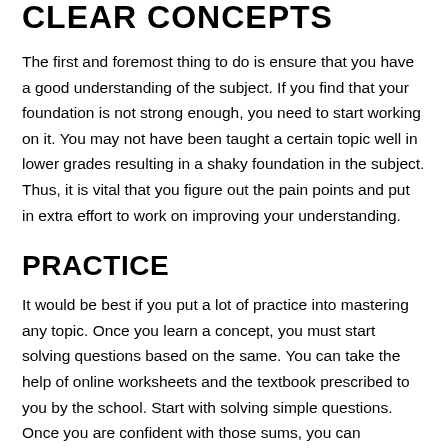CLEAR CONCEPTS
The first and foremost thing to do is ensure that you have a good understanding of the subject. If you find that your foundation is not strong enough, you need to start working on it. You may not have been taught a certain topic well in lower grades resulting in a shaky foundation in the subject. Thus, it is vital that you figure out the pain points and put in extra effort to work on improving your understanding.
PRACTICE
It would be best if you put a lot of practice into mastering any topic. Once you learn a concept, you must start solving questions based on the same. You can take the help of online worksheets and the textbook prescribed to you by the school. Start with solving simple questions. Once you are confident with those sums, you can gradually start increasing the level of